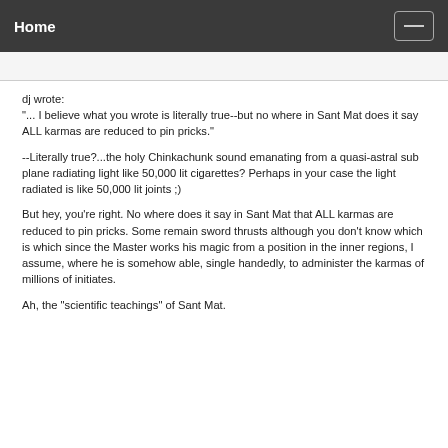Home
dj wrote:
"... I believe what you wrote is literally true--but no where in Sant Mat does it say ALL karmas are reduced to pin pricks."

--Literally true?...the holy Chinkachunk sound emanating from a quasi-astral sub plane radiating light like 50,000 lit cigarettes? Perhaps in your case the light radiated is like 50,000 lit joints ;)

But hey, you're right. No where does it say in Sant Mat that ALL karmas are reduced to pin pricks. Some remain sword thrusts although you don't know which is which since the Master works his magic from a position in the inner regions, I assume, where he is somehow able, single handedly, to administer the karmas of millions of initiates.

Ah, the "scientific teachings" of Sant Mat.